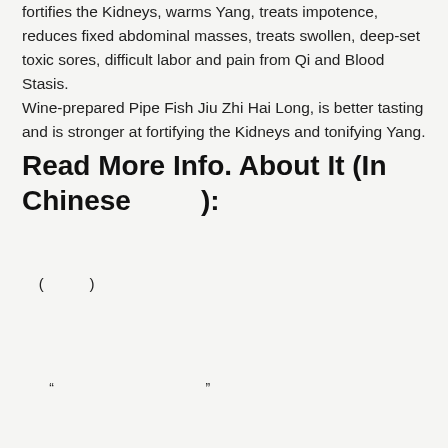fortifies the Kidneys, warms Yang, treats impotence, reduces fixed abdominal masses, treats swollen, deep-set toxic sores, difficult labor and pain from Qi and Blood Stasis. Wine-prepared Pipe Fish Jiu Zhi Hai Long, is better tasting and is stronger at fortifying the Kidneys and tonifying Yang.
Read More Info. About It (In Chinese        ):
(              )
"                                              "